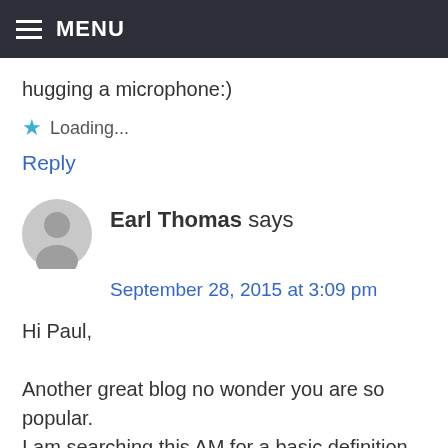MENU
hugging a microphone:)
★ Loading...
Reply
Earl Thomas says
September 28, 2015 at 3:09 pm
Hi Paul,
Another great blog no wonder you are so popular.
I am searching this AM for a basic definition of pitch